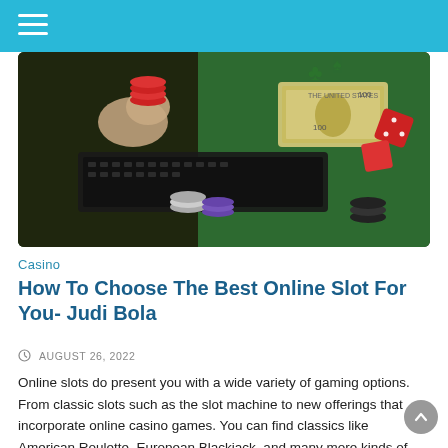[Figure (photo): Casino scene: hands holding red poker chips over a laptop keyboard, stacks of poker chips, red dice in the air, and $100 dollar bills on a green felt table surface.]
Casino
How To Choose The Best Online Slot For You- Judi Bola
AUGUST 26, 2022
Online slots do present you with a wide variety of gaming options. From classic slots such as the slot machine to new offerings that incorporate online casino games. You can find classics like American Roulette, European Blackjack, and many more kinds of games in